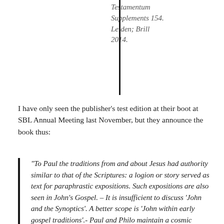Testamentum Supplements 154. Leiden; Brill 2014.
I have only seen the publisher's test edition at their boot at SBL Annual Meeting last November, but they announce the book thus:
“To Paul the traditions from and about Jesus had authority similar to that of the Scriptures: a logion or story served as text for paraphrastic expositions. Such expositions are also seen in John’s Gospel. – It is insufficient to discuss ‘John and the Synoptics’. A better scope is ‘John within early gospel traditions’.- Paul and Philo maintain a cosmic understanding of Jesus and